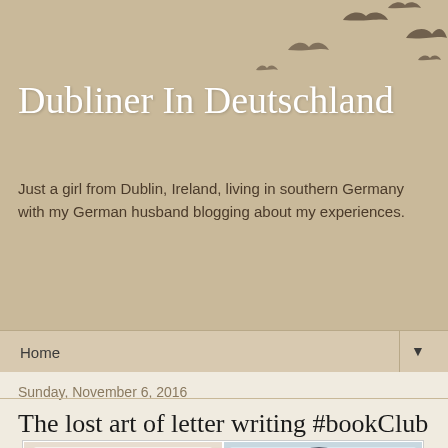Dubliner In Deutschland
Just a girl from Dublin, Ireland, living in southern Germany with my German husband blogging about my experiences.
Home ▼
Sunday, November 6, 2016
The lost art of letter writing #bookClub
[Figure (photo): Two book covers side by side: 'The Last Letter from your Lover' and 'The Guernsey Literary and Potato Peel Pie']